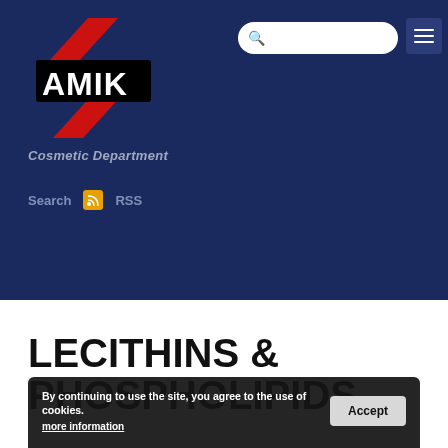[Figure (logo): AMIK company logo with red diagonal stripes and bold black/white AMIK lettering on dark blue background]
Cosmetic Department
Search  RSS
LECITHINS & PHOSPHOLIPIDS
By continuing to use the site, you agree to the use of cookies.
more information
Accept